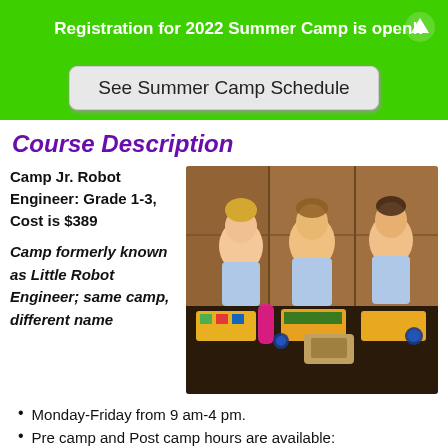Registration for 2022 Summer Camp is open!!
See Summer Camp Schedule
Course Description
Camp Jr. Robot Engineer: Grade 1-3, Cost is $389
[Figure (photo): Three young children sitting at a table with colorful robot/engineering kits, smiling at the camera in a classroom setting]
Camp formerly known as Little Robot Engineer; same camp, different name
Monday-Friday from 9 am-4 pm.
Pre camp and Post camp hours are available: